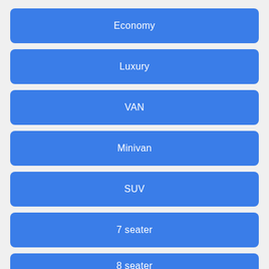Economy
Luxury
VAN
Minivan
SUV
7 seater
8 seater